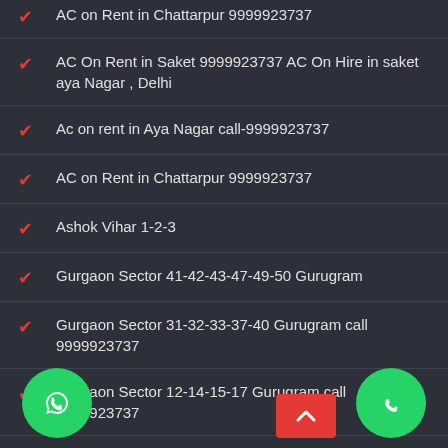AC on Rent in Chattarpur 9999923737
AC On Rent in Saket 9999923737 AC On Hire in saket aya Nagar , Delhi
Ac on rent in Aya Nagar call-9999923737
AC on Rent in Chattarpur 9999923737
Ashok Vihar 1-2-3
Gurgaon Sector 41-42-43-47-49-50 Gurugram
Gurgaon Sector 31-32-33-37-40 Gurugram call 9999923737
Gurgaon Sector 12-14-15-17 Gurugram call 9999923737
Gurgaon Sector 21-22-23-27-28-30 Gurugram
Gurgaon Sector 46-47 Gurugram call 999999237...